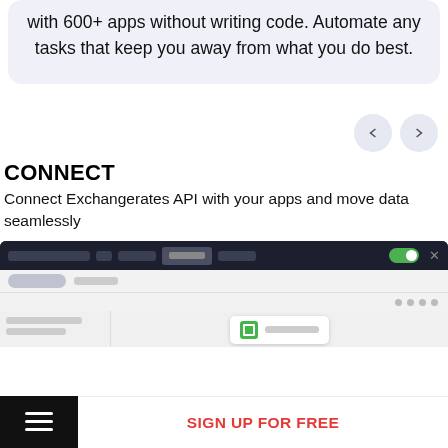with 600+ apps without writing code. Automate any tasks that keep you away from what you do best.
CONNECT
Connect Exchangerates API with your apps and move data seamlessly
[Figure (screenshot): Screenshot of a web application interface showing a dark navigation bar with toggle switch and a grey content area with a card containing a green icon]
SIGN UP FOR FREE